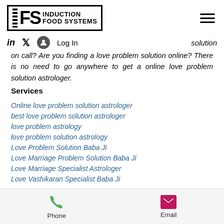IFS INDUCTION FOOD SYSTEMS
solution on call? Are you finding a love problem solution online? There is no need to go anywhere to get a online love problem solution astrologer.
Services
Online love problem solution astrologer
best love problem solution astrologer
love problem astrology
love problem solution astrology
Love Problem Solution Baba Ji
Love Marriage Problem Solution Baba Ji
Love Marriage Specialist Astrologer
Love Vashikaran Specialist Baba Ji
Phone  Email